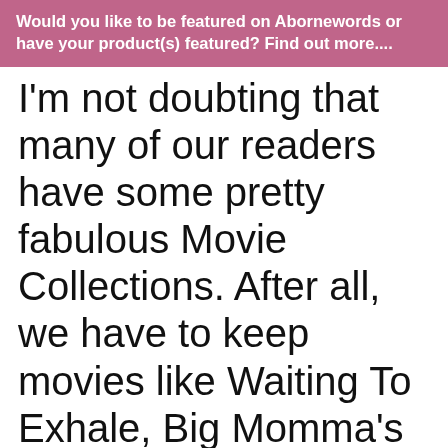Would you like to be featured on Abornewords or have your product(s) featured? Find out more....
I'm not doubting that many of our readers have some pretty fabulous Movie Collections. After all, we have to keep movies like Waiting To Exhale, Big Momma's House, Good Deeds, Wanted, and Love & Basketball on hand. Having them means we can pull them out and forgot